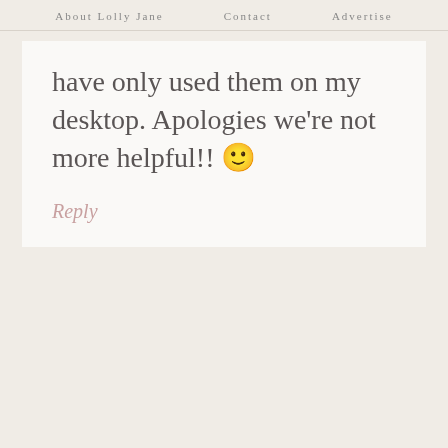About Lolly Jane   Contact   Advertise
have only used them on my desktop. Apologies we're not more helpful!! 🙂
Reply